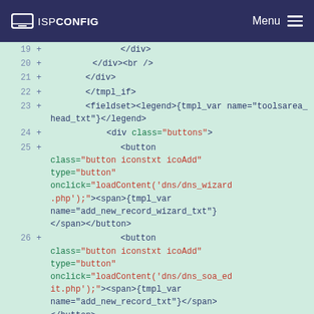ISPConfig Menu
[Figure (screenshot): Code diff view showing HTML template code lines 19-26 with added lines (green background). Lines show closing div tags, tmpl_if, fieldset, and button elements with class, type, and onclick attributes referencing dns_wizard.php and dns_soa_edit.php.]